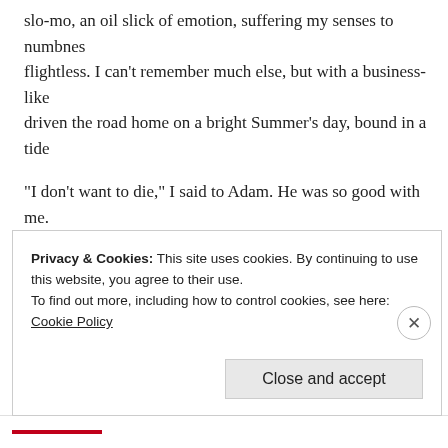slo-mo, an oil slick of emotion, suffering my senses to numbness, flightless. I can't remember much else, but with a business-like driven the road home on a bright Summer's day, bound in a tide
“I don’t want to die,” I said to Adam. He was so good with me. telling our daughter, but softly, so she could adjust. That’s not h Summer’s day, and quickly garnered the brevity of how I felt.
My mortality; she stayed with me for days. She left no space, he and in my face. Anxiety gripped me. I panicked, so upon invitat two hour’s drive away near a forest, itself under threat. There, w with birds and newts and damselfies. Over those few days, I als state.
Privacy & Cookies: This site uses cookies. By continuing to use this website, you agree to their use.
To find out more, including how to control cookies, see here: Cookie Policy
Close and accept